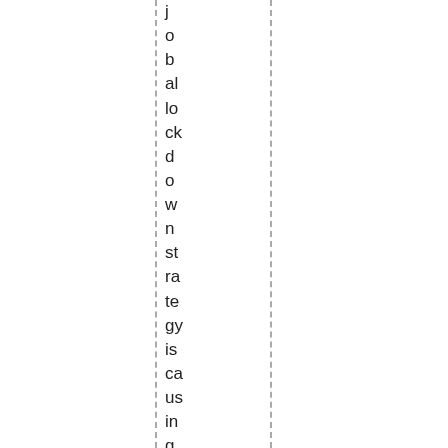globalblockdown strategy is causing more harm and destroy